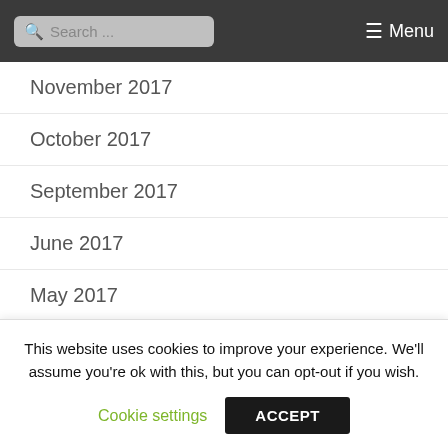Search ... Menu
November 2017
October 2017
September 2017
June 2017
May 2017
April 2017
March 2017
January 2017
December 2016
November 2016
October 2016
September 2016
This website uses cookies to improve your experience. We'll assume you're ok with this, but you can opt-out if you wish.
Cookie settings  ACCEPT